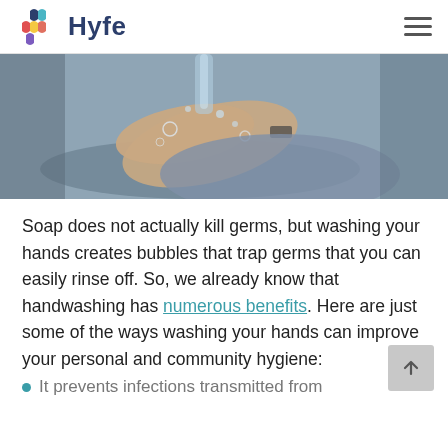Hyfe
[Figure (photo): Close-up photo of a person washing hands under running water at a sink, with soap bubbles visible]
Soap does not actually kill germs, but washing your hands creates bubbles that trap germs that you can easily rinse off. So, we already know that handwashing has numerous benefits. Here are just some of the ways washing your hands can improve your personal and community hygiene:
It prevents infections transmitted from